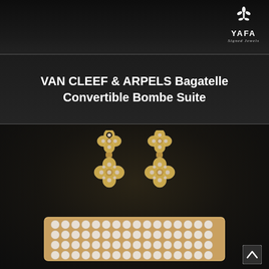[Figure (photo): Top dark banner with YAFA Signed Jewels logo in upper right corner]
VAN CLEEF & ARPELS Bagatelle Convertible Bombe Suite
[Figure (photo): Product photo of Van Cleef & Arpels Bagatelle Convertible Bombe Suite showing clover-shaped diamond earrings and a wide pearl and diamond bracelet on dark background]